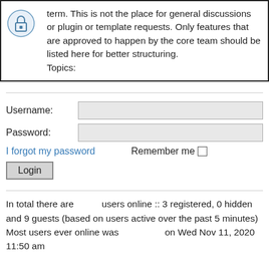term. This is not the place for general discussions or plugin or template requests. Only features that are approved to happen by the core team should be listed here for better structuring. Topics:
Username: [input field]
Password: [input field]
I forgot my password   Remember me □
Login
In total there are     users online :: 3 registered, 0 hidden and 9 guests (based on users active over the past 5 minutes)
Most users ever online was        on Wed Nov 11, 2020 11:50 am